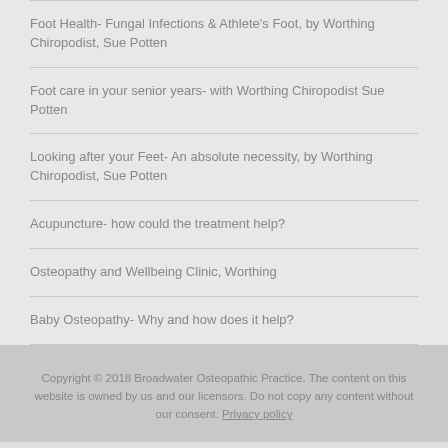Foot Health- Fungal Infections & Athlete's Foot, by Worthing Chiropodist, Sue Potten
Foot care in your senior years- with Worthing Chiropodist Sue Potten
Looking after your Feet- An absolute necessity, by Worthing Chiropodist, Sue Potten
Acupuncture- how could the treatment help?
Osteopathy and Wellbeing Clinic, Worthing
Baby Osteopathy- Why and how does it help?
Copyright © 2018 Broadwater Osteopathic Practice. The content on this website is owned by us and our licensors. Do not copy any content without our consent. Privacy policy